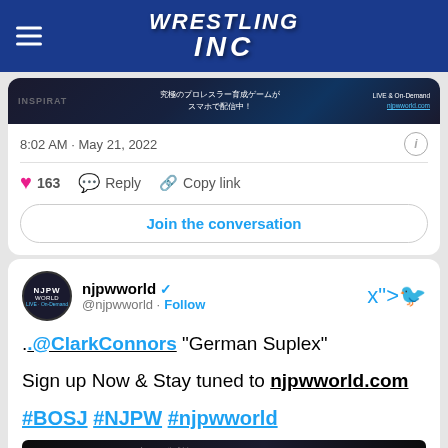Wrestling Inc
[Figure (screenshot): NJPW World promotional image with Japanese text]
8:02 AM · May 21, 2022
163  Reply  Copy link
Join the conversation
njpwworld @njpwworld · Follow
.@ClarkConnors "German Suplex"

Sign up Now & Stay tuned to njpwworld.com

#BOSJ #NJPW #njpwworld
[Figure (screenshot): BEST OF THE SUPER Jr.29 A block match image]